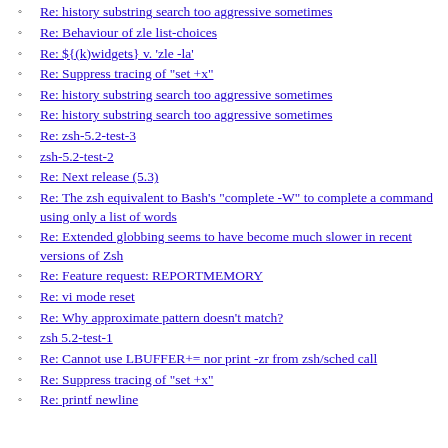Re: ZSH display raw keycodes for ¡ and ¿ spanish characters
Re: read still active after Ctrl-C
Re: history substring search too aggressive sometimes
Re: Behaviour of zle list-choices
Re: ${(k)widgets} v. 'zle -la'
Re: Suppress tracing of "set +x"
Re: history substring search too aggressive sometimes
Re: history substring search too aggressive sometimes
Re: zsh-5.2-test-3
zsh-5.2-test-2
Re: Next release (5.3)
Re: The zsh equivalent to Bash's "complete -W" to complete a command using only a list of words
Re: Extended globbing seems to have become much slower in recent versions of Zsh
Re: Feature request: REPORTMEMORY
Re: vi mode reset
Re: Why approximate pattern doesn't match?
zsh 5.2-test-1
Re: Cannot use LBUFFER+= nor print -zr from zsh/sched call
Re: Suppress tracing of "set +x"
Re: printf newline